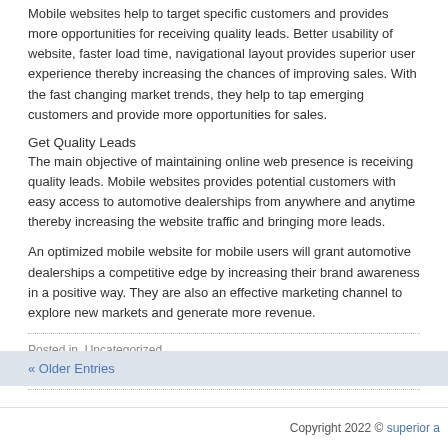Mobile websites help to target specific customers and provides more opportunities for receiving quality leads. Better usability of website, faster load time, navigational layout provides superior user experience thereby increasing the chances of improving sales. With the fast changing market trends, they help to tap emerging customers and provide more opportunities for sales.
Get Quality Leads
The main objective of maintaining online web presence is receiving quality leads. Mobile websites provides potential customers with easy access to automotive dealerships from anywhere and anytime thereby increasing the website traffic and bringing more leads.
An optimized mobile website for mobile users will grant automotive dealerships a competitive edge by increasing their brand awareness in a positive way. They are also an effective marketing channel to explore new markets and generate more revenue.
Posted in  Uncategorized
Tags:  Automotive   Developing
« Older Entries
Copyright 2022 © superior a